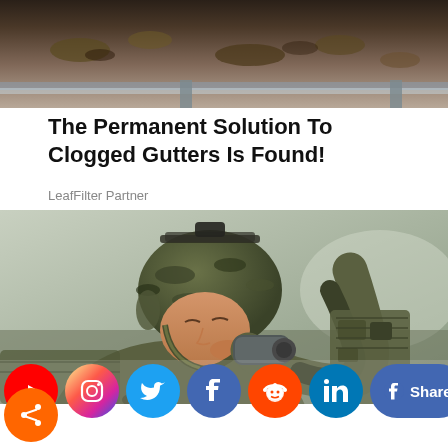[Figure (photo): Top portion of a clogged gutter with leaves and debris visible]
The Permanent Solution To Clogged Gutters Is Found!
LeafFilter Partner
[Figure (photo): A soldier in full combat gear and helmet drinking from a canteen or water bottle]
[Figure (other): Social media sharing bar with YouTube, Instagram, Twitter, Facebook round icons, Reddit, LinkedIn, Facebook Share pill button, Tweet pill button, and a share icon below]